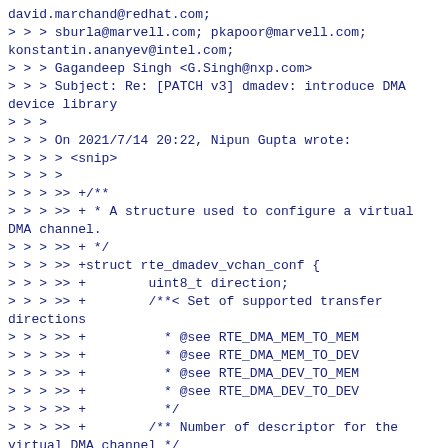david.marchand@redhat.com;
> > > sburla@marvell.com; pkapoor@marvell.com;
konstantin.ananyev@intel.com;
> > > Gagandeep Singh <G.Singh@nxp.com>
> > > Subject: Re: [PATCH v3] dmadev: introduce DMA device library
> > >
> > > On 2021/7/14 20:22, Nipun Gupta wrote:
> > > > <snip>
> > > >
> > > >> +/**
> > > >> + * A structure used to configure a virtual DMA channel.
> > > >> + */
> > > >> +struct rte_dmadev_vchan_conf {
> > > >> +        uint8_t direction;
> > > >> +        /**< Set of supported transfer directions
> > > >> +          * @see RTE_DMA_MEM_TO_MEM
> > > >> +          * @see RTE_DMA_MEM_TO_DEV
> > > >> +          * @see RTE_DMA_DEV_TO_MEM
> > > >> +          * @see RTE_DMA_DEV_TO_DEV
> > > >> +          */
> > > >> +        /** Number of descriptor for the virtual DMA channel */
> > > >> +        uint16_t nb_desc;
> > > >> +        /** 1) Used to describes the port parameter in the device-to-memory
> > > >> +          * transfer scenario.
> > > >> +          * 2) Used to describes the source